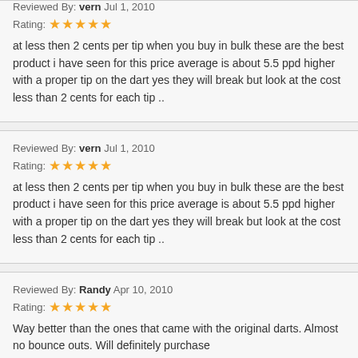Reviewed By: vern Jul 1, 2010
Rating: ★★★★★
at less then 2 cents per tip when you buy in bulk these are the best product i have seen for this price average is about 5.5 ppd higher with a proper tip on the dart yes they will break but look at the cost less than 2 cents for each tip ..
Reviewed By: vern Jul 1, 2010
Rating: ★★★★★
at less then 2 cents per tip when you buy in bulk these are the best product i have seen for this price average is about 5.5 ppd higher with a proper tip on the dart yes they will break but look at the cost less than 2 cents for each tip ..
Reviewed By: Randy Apr 10, 2010
Rating: ★★★★★
Way better than the ones that came with the original darts. Almost no bounce outs. Will definitely purchase